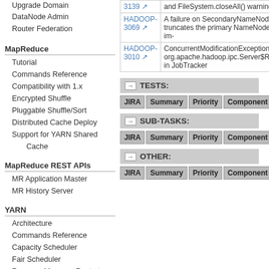Upgrade Domain
DataNode Admin
Router Federation
MapReduce
Tutorial
Commands Reference
Compatibility with 1.x
Encrypted Shuffle
Pluggable Shuffle/Sort
Distributed Cache Deploy
Support for YARN Shared Cache
MapReduce REST APIs
MR Application Master
MR History Server
YARN
Architecture
Commands Reference
Capacity Scheduler
Fair Scheduler
ResourceManager Restart
ResourceManager HA
Node Labels
Web Application Proxy
Timeline Server
Timeline Service V.2
Writing YARN Applications
YARN Application Security
NodeManager
DockerContainerExecutor
| JIRA | Summary |
| --- | --- |
| 3139 | and FileSystem.closeAll() warning |
| HADOOP-3069 | A failure on SecondaryNameNode truncates the primary NameNode im- |
| HADOOP-3010 | ConcurrentModificationException from org.apache.hadoop.ipc.Server$Resp in JobTracker |
TESTS:
| JIRA | Summary | Priority | Component | Repo |
| --- | --- | --- | --- | --- |
SUB-TASKS:
| JIRA | Summary | Priority | Component | Repo |
| --- | --- | --- | --- | --- |
OTHER:
| JIRA | Summary | Priority | Component | Repo |
| --- | --- | --- | --- | --- |